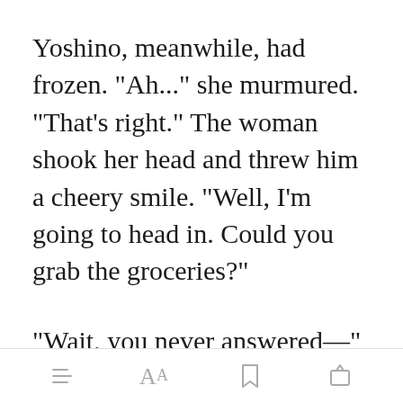Yoshino, meanwhile, had frozen. "Ah..." she murmured. "That's right." The woman shook her head and threw him a cheery smile. "Well, I'm going to head in. Could you grab the groceries?"
"Wait, you never answered—" He sighed as she ignored him and strode into the [Open in app] Grumbling
[menu icon] AA [bookmark icon] [share icon]